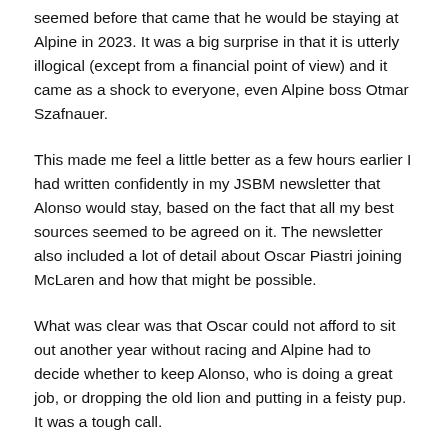seemed before that came that he would be staying at Alpine in 2023. It was a big surprise in that it is utterly illogical (except from a financial point of view) and it came as a shock to everyone, even Alpine boss Otmar Szafnauer.
This made me feel a little better as a few hours earlier I had written confidently in my JSBM newsletter that Alonso would stay, based on the fact that all my best sources seemed to be agreed on it. The newsletter also included a lot of detail about Oscar Piastri joining McLaren and how that might be possible.
What was clear was that Oscar could not afford to sit out another year without racing and Alpine had to decide whether to keep Alonso, who is doing a great job, or dropping the old lion and putting in a feisty pup. It was a tough call.